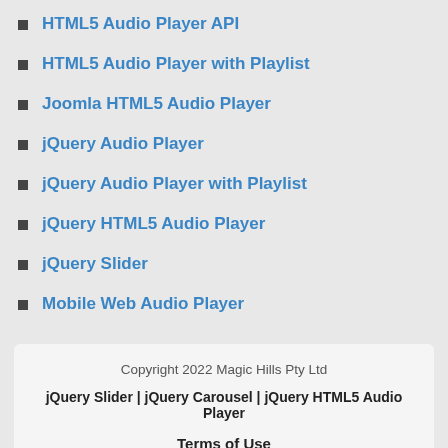HTML5 Audio Player API
HTML5 Audio Player with Playlist
Joomla HTML5 Audio Player
jQuery Audio Player
jQuery Audio Player with Playlist
jQuery HTML5 Audio Player
jQuery Slider
Mobile Web Audio Player
Copyright 2022 Magic Hills Pty Ltd
jQuery Slider | jQuery Carousel | jQuery HTML5 Audio Player
Terms of Use